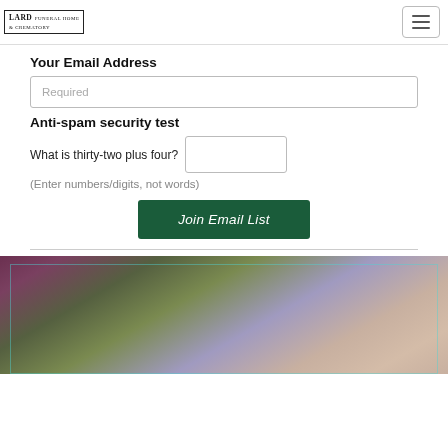LARD FUNERAL HOME & CREMATORY (logo) | Hamburger menu button
Your Email Address
Required
Anti-spam security test
What is thirty-two plus four?
(Enter numbers/digits, not words)
Join Email List
[Figure (photo): Close-up photo of hands holding purple/lavender flowers against a blurred floral background]